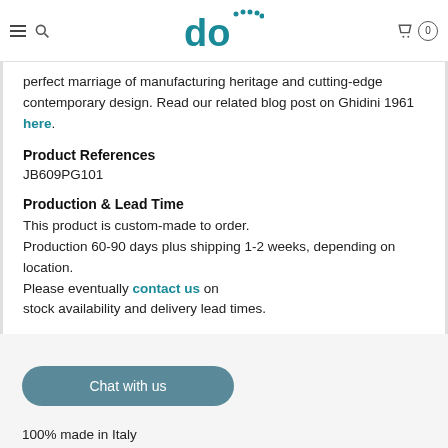do [logo] | navigation bar with hamburger, search, cart (0)
perfect marriage of manufacturing heritage and cutting-edge contemporary design. Read our related blog post on Ghidini 1961 here.
Product References
JB609PG101
Production & Lead Time
This product is custom-made to order. Production 60-90 days plus shipping 1-2 weeks, depending on location. Please eventually contact us on stock availability and delivery lead times.
Chat with us
100% made in Italy